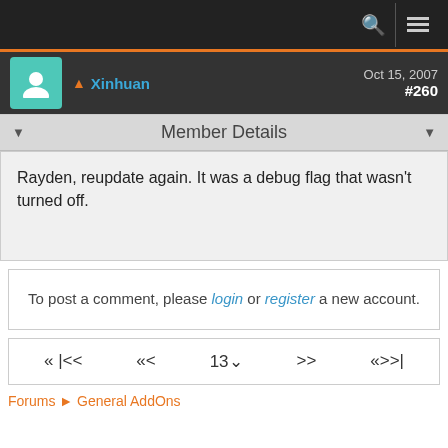Navigation bar with search and menu icons
Xinhuan — Oct 15, 2007 — #260
Member Details
Rayden, reupdate again. It was a debug flag that wasn't turned off.
To post a comment, please login or register a new account.
« |<< << 13 ∨ >> «>>|
Forums ► General AddOns